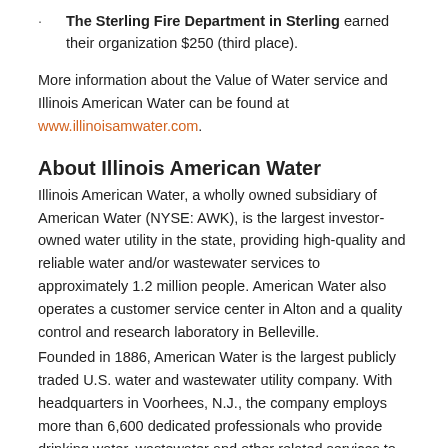· The Sterling Fire Department in Sterling earned their organization $250 (third place).
More information about the Value of Water service and Illinois American Water can be found at www.illinoisamwater.com.
About Illinois American Water
Illinois American Water, a wholly owned subsidiary of American Water (NYSE: AWK), is the largest investor-owned water utility in the state, providing high-quality and reliable water and/or wastewater services to approximately 1.2 million people. American Water also operates a customer service center in Alton and a quality control and research laboratory in Belleville.
Founded in 1886, American Water is the largest publicly traded U.S. water and wastewater utility company. With headquarters in Voorhees, N.J., the company employs more than 6,600 dedicated professionals who provide drinking water, wastewater and other related services to